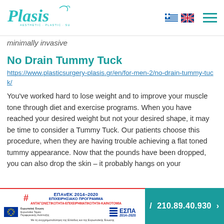[Figure (logo): Plasis Aesthetic Plastic Surgery logo in teal/turquoise script font]
minimally invasive
No Drain Tummy Tuck
https://www.plasticsurgery-plasis.gr/en/for-men-2/no-drain-tummy-tuck/
You've worked hard to lose weight and to improve your muscle tone through diet and exercise programs. When you have reached your desired weight but not your desired shape, it may be time to consider a Tummy Tuck. Our patients choose this procedure, when they are having trouble achieving a flat toned tummy appearance. Now that the pounds have been dropped, you can also drop the skin – it probably hangs on your … a look. No matter how
ΕΠΑvΕΚ 2014–2020 ΕΠΙΧΕΙΡΗΣΙΑΚΟ ΠΡΟΓΡΑΜΜΑ ΑΝΤΑΓΩΝΙΣΤΙΚΟΤΗΤΑ·ΕΠΙΧΕΙΡΗΜΑΤΙΚΟΤΗΤΑ·ΚΑΙΝΟΤΟΜΙΑ | ΕΣΠΑ 2014–2020 | 210.89.40.930